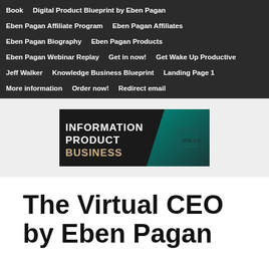Book
Digital Product Blueprint by Eben Pagan
Eben Pagan Affiliate Program
Eben Pagan Affiliates
Eben Pagan Biography
Eben Pagan Products
Eben Pagan Webinar Replay
Get in now!
Get Wake Up Productive
Jeff Walker
Knowledge Business Blueprint
Landing Page 1
More information
Order now!
Redirect email
[Figure (logo): Information Product Business banner/logo with teal gradient background and text 'INFORMATION PRODUCT BUSINESS' in white/gold letters, with IPB.US logo icon]
The Virtual CEO by Eben Pagan